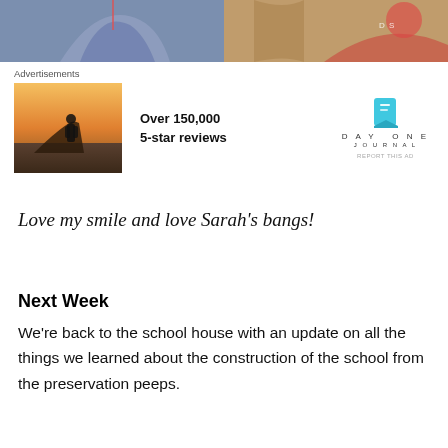[Figure (photo): Two photos side by side at the top: left shows a person in a blue jacket, right shows a person wearing a red patterned top]
[Figure (other): Advertisement for Day One Journal app. Shows a photo of a person on a hillside, text reading 'Over 150,000 5-star reviews', and the Day One Journal logo with a blue bookmark icon.]
Love my smile and love Sarah’s bangs!
Next Week
We’re back to the school house with an update on all the things we learned about the construction of the school from the preservation peeps.